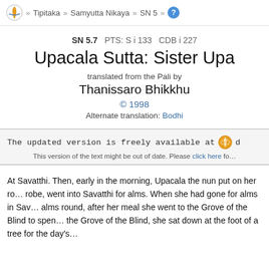» Tipitaka » Samyutta Nikaya » SN 5 » ?
SN 5.7   PTS: S i 133   CDB i 227
Upacala Sutta: Sister Upa…
translated from the Pali by
Thanissaro Bhikkhu
© 1998
Alternate translation: Bodhi
The updated version is freely available at d…
This version of the text might be out of date. Please click here fo…
At Savatthi. Then, early in the morning, Upacala the nun put on her ro… robe, went into Savatthi for alms. When she had gone for alms in Sav… alms round, after her meal she went to the Grove of the Blind to spen… the Grove of the Blind, she sat down at the foot of a tree for the day's…